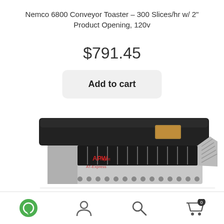Nemco 6800 Conveyor Toaster – 300 Slices/hr w/ 2" Product Opening, 120v
$791.45
Add to cart
[Figure (photo): Nemco 6800 Conveyor Toaster product photo showing a stainless steel commercial toaster with black top, APW branding, and conveyor grill opening on the right side.]
[Figure (infographic): Bottom navigation bar with four icons: chat bubble (green circle), user/account icon, search/magnifying glass icon, and shopping cart with badge showing 0.]